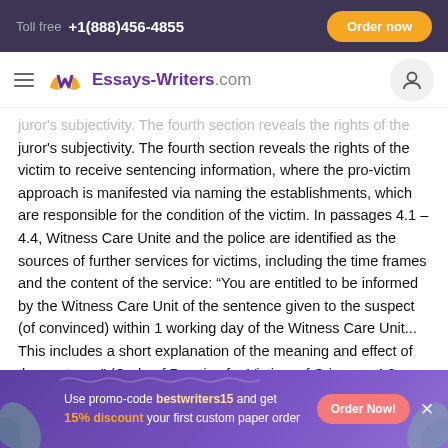Toll free +1(888)456-4855 | Order now
[Figure (logo): Essays-Writers.com logo with hamburger menu and user icon]
juror's subjectivity. The fourth section reveals the rights of the victim to receive sentencing information, where the pro-victim approach is manifested via naming the establishments, which are responsible for the condition of the victim. In passages 4.1 – 4.4, Witness Care Unite and the police are identified as the sources of further services for victims, including the time frames and the content of the service: “You are entitled to be informed by the Witness Care Unit of the sentence given to the suspect (of convinced) within 1 working day of the Witness Care Unit... This includes a short explanation of the meaning and effect of the sentence” (Code of Practice for Victims of Crime, s. 4.3., p.
Use promo-code bestwriters15 and get 15% discount your first custom paper order | Order Now!